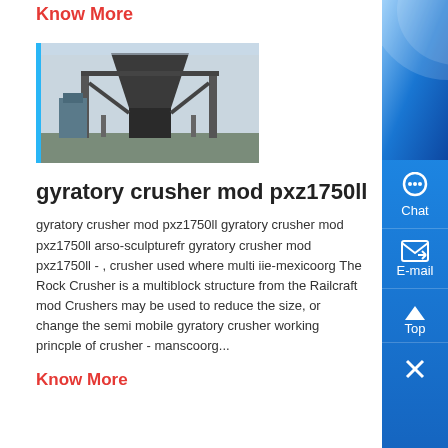Know More
[Figure (photo): Industrial gyratory crusher machine structure, photographed from below showing large metallic hopper and support framework]
gyratory crusher mod pxz1750ll
gyratory crusher mod pxz1750ll gyratory crusher mod pxz1750ll arso-sculpturefr gyratory crusher mod pxz1750ll - , crusher used where multi iie-mexicoorg The Rock Crusher is a multiblock structure from the Railcraft mod Crushers may be used to reduce the size, or change the semi mobile gyratory crusher working princple of crusher - manscoorg...
Know More